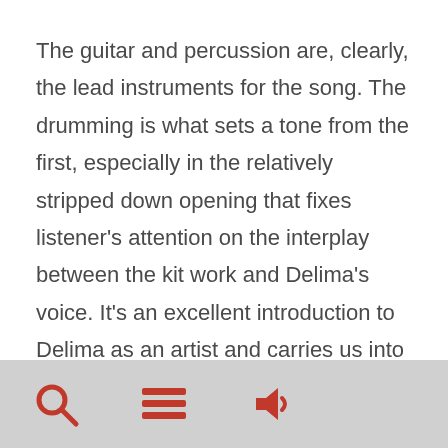The guitar and percussion are, clearly, the lead instruments for the song. The drumming is what sets a tone from the first, especially in the relatively stripped down opening that fixes listener's attention on the interplay between the kit work and Delima's voice. It's an excellent introduction to Delima as an artist and carries us into the main body of the song with a gentle onrush that never impatiently pushes on the listener. Another key component of the song's success is that Delima,
[Figure (other): Bottom navigation bar with three icons: search (magnifying glass), menu (three horizontal lines), and audio/speaker icon, on a grey background]